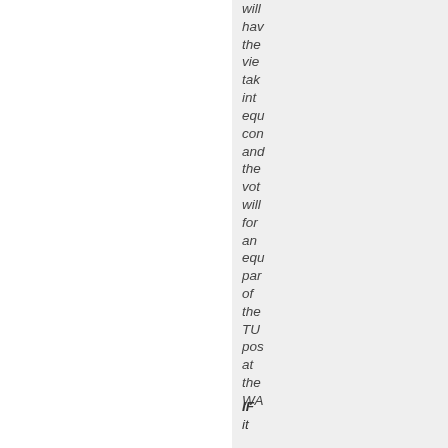will have the views taken into equi- con- and the vot- will for- an equ- par- of the TU pos- at the WA
IF it